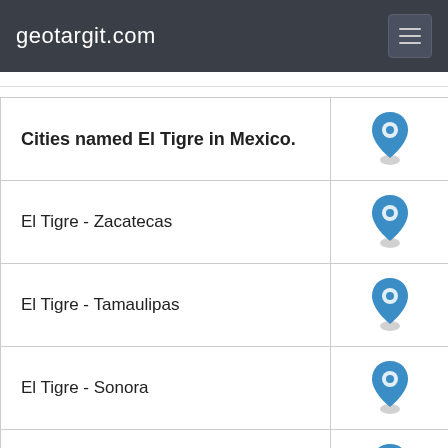geotargit.com
| Cities named El Tigre in Mexico. |  |
| --- | --- |
| El Tigre - Zacatecas |  |
| El Tigre - Tamaulipas |  |
| El Tigre - Sonora |  |
| El Tigre - Sinaloa |  |
| El Tigre - San Luis Potosi |  |
| El Tigre - Puebla |  |
|  |  |